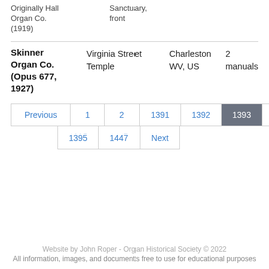Originally Hall Organ Co. (1919)    Sanctuary, front
| Skinner Organ Co. (Opus 677, 1927) | Virginia Street Temple | Charleston WV, US | 2 manuals |
Previous  1  2  1391  1392  1393  1394
1395  1447  Next
Website by John Roper - Organ Historical Society © 2022
All information, images, and documents free to use for educational purposes